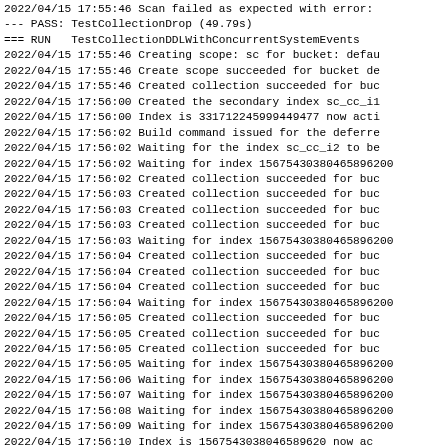2022/04/15 17:55:46 Scan failed as expected with error:
--- PASS: TestCollectionDrop (49.79s)
=== RUN   TestCollectionDDLWithConcurrentSystemEvents
2022/04/15 17:55:46 Creating scope: sc for bucket: defau
2022/04/15 17:55:46 Create scope succeeded for bucket de
2022/04/15 17:55:46 Created collection succeeded for buc
2022/04/15 17:56:00 Created the secondary index sc_cc_i1
2022/04/15 17:56:00 Index is 331712245999449477 now acti
2022/04/15 17:56:02 Build command issued for the deferre
2022/04/15 17:56:02 Waiting for the index sc_cc_i2 to be
2022/04/15 17:56:02 Waiting for index 156754303804658962
2022/04/15 17:56:02 Created collection succeeded for buc
2022/04/15 17:56:03 Created collection succeeded for buc
2022/04/15 17:56:03 Created collection succeeded for buc
2022/04/15 17:56:03 Created collection succeeded for buc
2022/04/15 17:56:03 Waiting for index 156754303804658962
2022/04/15 17:56:04 Created collection succeeded for buc
2022/04/15 17:56:04 Created collection succeeded for buc
2022/04/15 17:56:04 Created collection succeeded for buc
2022/04/15 17:56:04 Waiting for index 156754303804658962
2022/04/15 17:56:05 Created collection succeeded for buc
2022/04/15 17:56:05 Created collection succeeded for buc
2022/04/15 17:56:05 Created collection succeeded for buc
2022/04/15 17:56:05 Waiting for index 156754303804658962
2022/04/15 17:56:06 Waiting for index 156754303804658962
2022/04/15 17:56:07 Waiting for index 156754303804658962
2022/04/15 17:56:08 Waiting for index 156754303804658962
2022/04/15 17:56:09 Waiting for index 156754303804658962
2022/04/15 17:56:10 Index is 1567543038046589620 now ac
2022/04/15 17:56:10 Using n1ql client